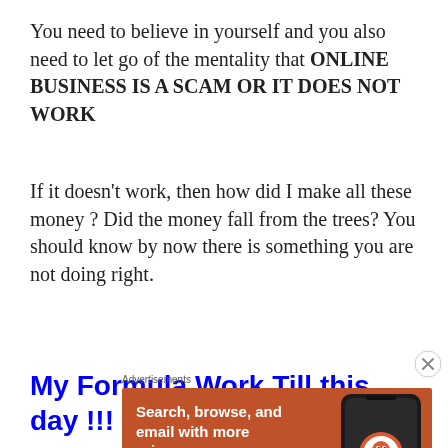You need to believe in yourself and you also need to let go of the mentality that ONLINE BUSINESS IS A SCAM OR IT DOES NOT WORK
If it doesn't work, then how did I make all these money ? Did the money fall from the trees? You should know by now there is something you are not doing right.
My Formula Work Till this day !!!
[Figure (other): DuckDuckGo advertisement banner: orange background with text 'Search, browse, and email with more privacy. All in One Free App' and a phone showing the DuckDuckGo app logo.]